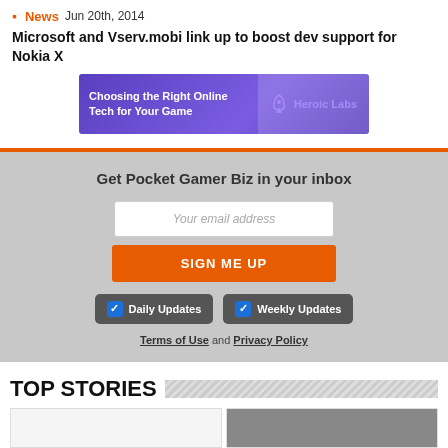News  Jun 20th, 2014
Microsoft and Vserv.mobi link up to boost dev support for Nokia X
[Figure (screenshot): Advertisement banner for Heroic Labs: 'Choosing the Right Online Tech for Your Game' with purple background and rocket logo]
Get Pocket Gamer Biz in your inbox
Your email address
SIGN ME UP
Daily Updates  Weekly Updates
Terms of Use and Privacy Policy
TOP STORIES